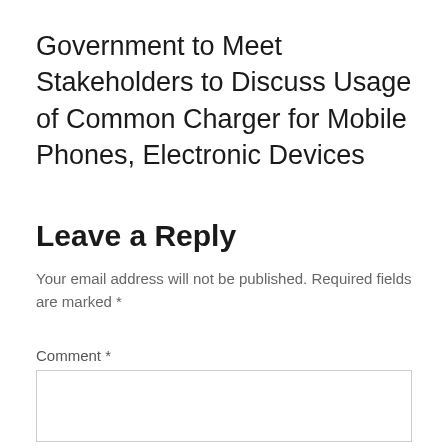Government to Meet Stakeholders to Discuss Usage of Common Charger for Mobile Phones, Electronic Devices
Leave a Reply
Your email address will not be published. Required fields are marked *
Comment *